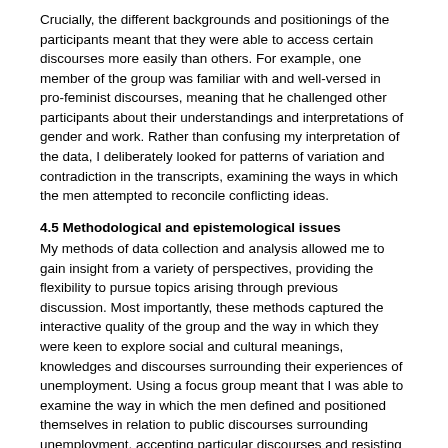Crucially, the different backgrounds and positionings of the participants meant that they were able to access certain discourses more easily than others. For example, one member of the group was familiar with and well-versed in pro-feminist discourses, meaning that he challenged other participants about their understandings and interpretations of gender and work. Rather than confusing my interpretation of the data, I deliberately looked for patterns of variation and contradiction in the transcripts, examining the ways in which the men attempted to reconcile conflicting ideas.
4.5 Methodological and epistemological issues
My methods of data collection and analysis allowed me to gain insight from a variety of perspectives, providing the flexibility to pursue topics arising through previous discussion. Most importantly, these methods captured the interactive quality of the group and the way in which they were keen to explore social and cultural meanings, knowledges and discourses surrounding their experiences of unemployment. Using a focus group meant that I was able to examine the way in which the men defined and positioned themselves in relation to public discourses surrounding unemployment, accepting particular discourses and resisting others.
An important methodological assumption underpinning my choice of methods and mode of analysis is the idea that opinions, attitudes and accounts are socially produced and shaped through interaction with others. The group context of my research was important for exploring the way in which the men articulated and justified their ideas in relation